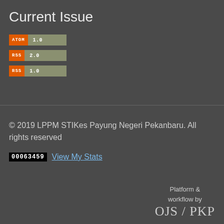Current Issue
[Figure (other): ATOM 1.0 feed badge - orange label with gray value]
[Figure (other): RSS 2.0 feed badge - orange label with gray value]
[Figure (other): RSS 1.0 feed badge - orange label with gray value]
© 2019 LPPM STIKes Payung Negeri Pekanbaru. All rights reserved
00063459 View My Stats
Platform & workflow by OJS / PKP